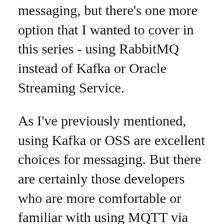messaging, but there's one more option that I wanted to cover in this series - using RabbitMQ instead of Kafka or Oracle Streaming Service.
As I've previously mentioned, using Kafka or OSS are excellent choices for messaging. But there are certainly those developers who are more comfortable or familiar with using MQTT via RabbitMQ so I wanted to cover this topic quickly because Micronaut makes using RabbitMQ just as easy as it made Kafka. We won't go into as much detail as we did in the previous posts because things would start to feel redundant, but I'll show you how to use